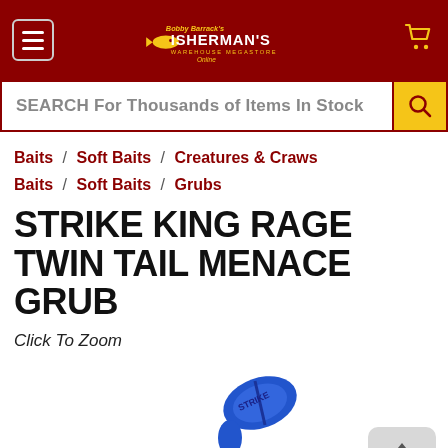Bobby Barrack's Fisherman's Warehouse Megastore Online — header with cart icon
SEARCH For Thousands of Items In Stock
Baits / Soft Baits / Creatures & Craws
Baits / Soft Baits / Grubs
STRIKE KING RAGE TWIN TAIL MENACE GRUB
Click To Zoom
[Figure (photo): Blue Strike King Rage Twin Tail Menace Grub fishing lure, partially visible at bottom of page, with a back-to-top arrow button in the lower right.]